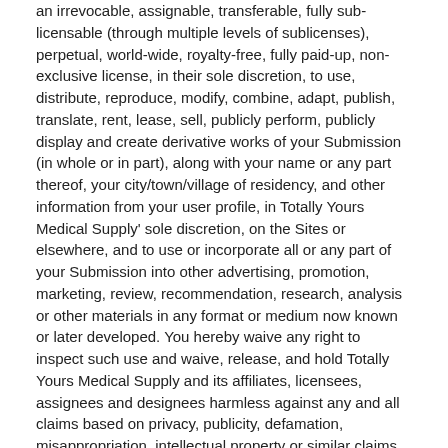an irrevocable, assignable, transferable, fully sub-licensable (through multiple levels of sublicenses), perpetual, world-wide, royalty-free, fully paid-up, non-exclusive license, in their sole discretion, to use, distribute, reproduce, modify, combine, adapt, publish, translate, rent, lease, sell, publicly perform, publicly display and create derivative works of your Submission (in whole or in part), along with your name or any part thereof, your city/town/village of residency, and other information from your user profile, in Totally Yours Medical Supply' sole discretion, on the Sites or elsewhere, and to use or incorporate all or any part of your Submission into other advertising, promotion, marketing, review, recommendation, research, analysis or other materials in any format or medium now known or later developed. You hereby waive any right to inspect such use and waive, release, and hold Totally Yours Medical Supply and its affiliates, licensees, assignees and designees harmless against any and all claims based on privacy, publicity, defamation, misappropriation, intellectual property or similar claims for any use of your Submission.
11. Notice and Procedures for Making Claims of Copyright or Intellectual Property Infringement
Totally Yours Medical Supply may, in its sole discretion, disable and/or terminate use by users who infringe the intellectual property of others. If you believe that your work has been copied in a way that constitutes